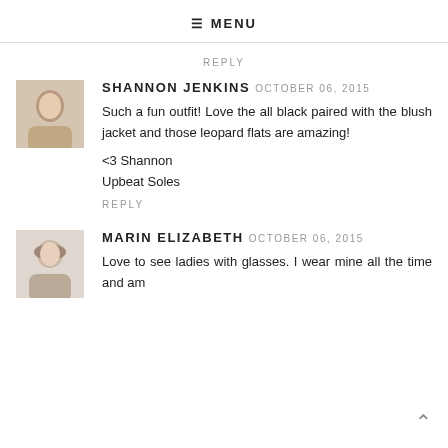☰ MENU
REPLY
SHANNON JENKINS OCTOBER 06, 2015
Such a fun outfit! Love the all black paired with the blush jacket and those leopard flats are amazing!

<3 Shannon
Upbeat Soles
REPLY
MARIN ELIZABETH OCTOBER 06, 2015
Love to see ladies with glasses. I wear mine all the time and am